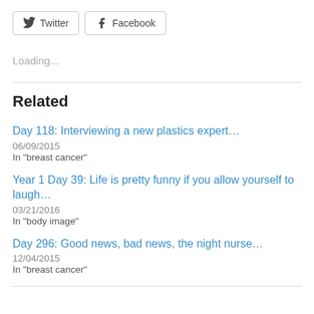[Figure (other): Twitter and Facebook social share buttons]
Loading...
Related
Day 118: Interviewing a new plastics expert…
06/09/2015
In "breast cancer"
Year 1 Day 39: Life is pretty funny if you allow yourself to laugh…
03/21/2016
In "body image"
Day 296: Good news, bad news, the night nurse…
12/04/2015
In "breast cancer"